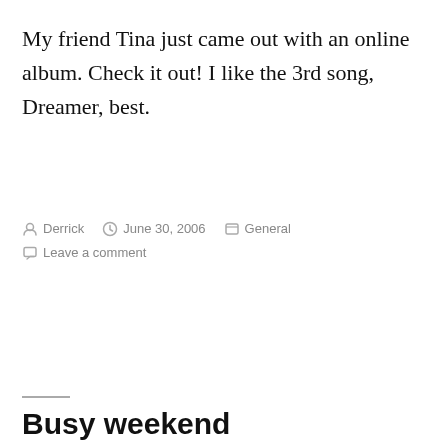My friend Tina just came out with an online album. Check it out! I like the 3rd song, Dreamer, best.
By Derrick   June 30, 2006   General   Leave a comment
Busy weekend